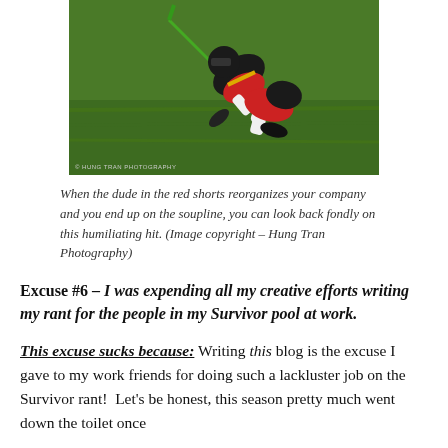[Figure (photo): Sports photo of a lacrosse or flag football player being tackled/hit, wearing red shorts, on a green grass field. Watermark reads '© HUNG TRAN PHOTOGRAPHY' at bottom left.]
When the dude in the red shorts reorganizes your company and you end up on the soupline, you can look back fondly on this humiliating hit. (Image copyright – Hung Tran Photography)
Excuse #6 – I was expending all my creative efforts writing my rant for the people in my Survivor pool at work.
This excuse sucks because: Writing this blog is the excuse I gave to my work friends for doing such a lackluster job on the Survivor rant!  Let's be honest, this season pretty much went down the toilet once